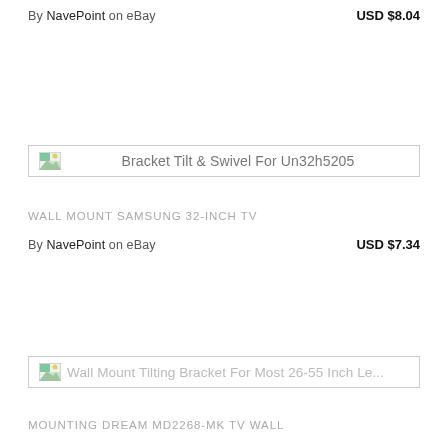By NavePoint on eBay    USD $8.04
[Figure (screenshot): Product listing image placeholder with broken image icon and text: Bracket Tilt & Swivel For Un32h5205]
WALL MOUNT SAMSUNG 32-INCH TV
By NavePoint on eBay    USD $7.34
[Figure (screenshot): Product listing image placeholder with broken image icon and text: Wall Mount Tilting Bracket For Most 26-55 Inch Le...]
MOUNTING DREAM MD2268-MK TV WALL